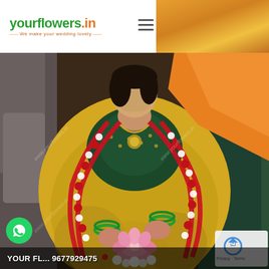yourflowers.in — We make your wedding lovely
[Figure (photo): Indian bride in yellow silk saree with green embroidered blouse, wearing multiple red and white flower garlands (varmala), green bangles, and holding a pink lotus flower. Watermark text 'www.yourflowers.in' visible diagonally across image.]
YOUR FL... 9677929475